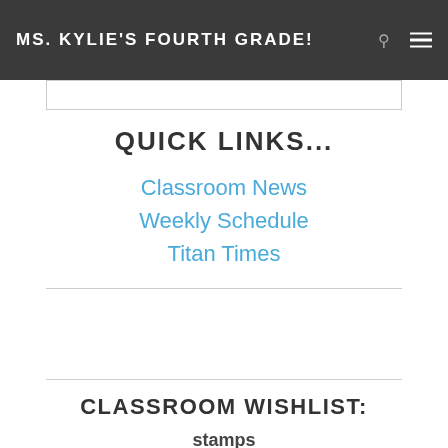MS. KYLIE'S FOURTH GRADE!
QUICK LINKS...
Classroom News
Weekly Schedule
Titan Times
CLASSROOM WISHLIST:
stamps
(for the Gratitude Project)
Amazon Gift Cards